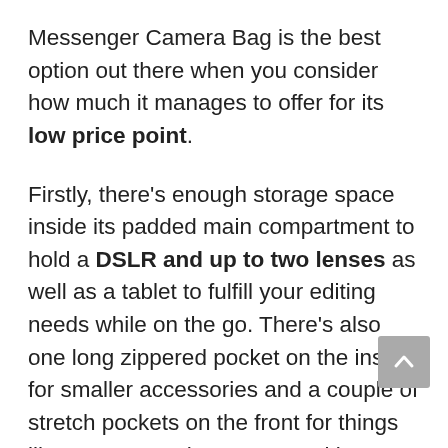Messenger Camera Bag is the best option out there when you consider how much it manages to offer for its low price point.
Firstly, there's enough storage space inside its padded main compartment to hold a DSLR and up to two lenses as well as a tablet to fulfill your editing needs while on the go. There's also one long zippered pocket on the inside for smaller accessories and a couple of stretch pockets on the front for things like your smartphone, external battery banks, or pencils.
The bag itself can also hold a water bottle or a